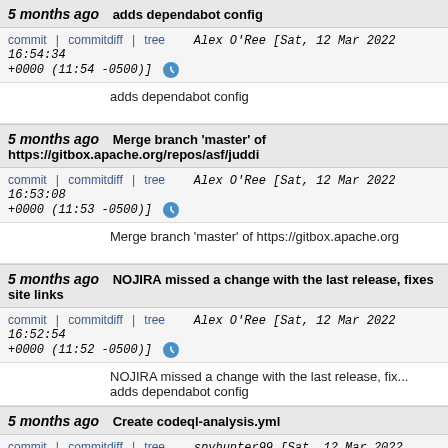5 months ago   adds dependabot config
commit | commitdiff | tree   Alex O'Ree [Sat, 12 Mar 2022 16:54:34 +0000 (11:54 -0500)]
adds dependabot config
5 months ago   Merge branch 'master' of https://gitbox.apache.org/repos/asf/juddi
commit | commitdiff | tree   Alex O'Ree [Sat, 12 Mar 2022 16:53:08 +0000 (11:53 -0500)]
Merge branch 'master' of https://gitbox.apache.org
5 months ago   NOJIRA missed a change with the last release, fixes site links
commit | commitdiff | tree   Alex O'Ree [Sat, 12 Mar 2022 16:52:54 +0000 (11:52 -0500)]
NOJIRA missed a change with the last release, fix... adds dependabot config
5 months ago   Create codeql-analysis.yml
commit | commitdiff | tree   spyhunter99 [Sat, 12 Mar 2022 16:47:39 +0000 (11:47 -0500)]